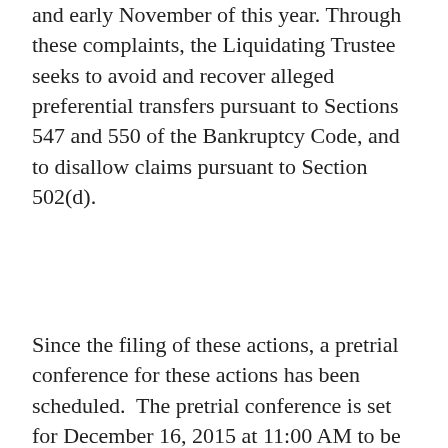and early November of this year. Through these complaints, the Liquidating Trustee seeks to avoid and recover alleged preferential transfers pursuant to Sections 547 and 550 of the Bankruptcy Code, and to disallow claims pursuant to Section 502(d).
Since the filing of these actions, a pretrial conference for these actions has been scheduled. The pretrial conference is set for December 16, 2015 at 11:00 AM to be held at the United States Bankruptcy Court, 824 Market St., 6th Fl., Courtroom #1, Wilmington, Delaware. Moreover, the Liquidating Trustee filed a Motion for Orders Establishing Streamlined Procedures Governing Adversary Proceedings, which will impact among other things various procedural aspects of the case. The deadline to object to this motion is Monday, November 30, 2015 at 4:00 p.m.